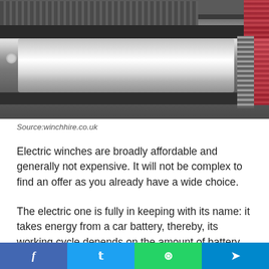[Figure (photo): Close-up photograph of an electric winch mechanism showing a shiny cylindrical drum, metal frame bars, cable spool, wire cable, and a red strap on the right side]
Source:winchhire.co.uk
Electric winches are broadly affordable and generally not expensive. It will not be complex to find an offer as you already have a wide choice.
The electric one is fully in keeping with its name: it takes energy from a car battery, thereby, its working cycle depends on the amount of battery power. The real advantage is that it does not need a running engine to utilize it.